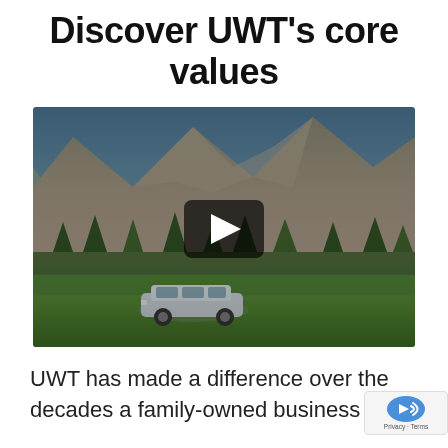Discover UWT's core values
[Figure (screenshot): Video thumbnail showing a silver minivan (UWT branded) driving through a green alpine meadow with large rocky mountains in the background. A dark play button overlay is centered on the video.]
UWT has made a difference over the decades a family-owned business can,